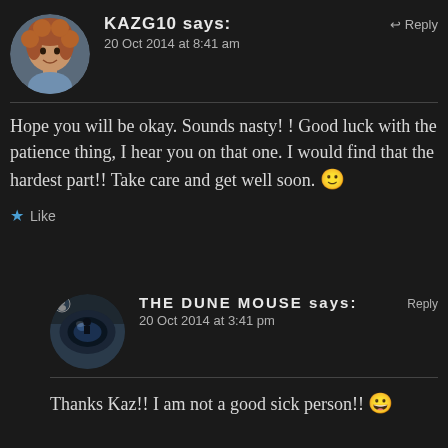[Figure (photo): Circular avatar photo of a woman with curly reddish-brown hair]
KAZG10 says:
Reply
20 Oct 2014 at 8:41 am
Hope you will be okay. Sounds nasty! ! Good luck with the patience thing, I hear you on that one. I would find that the hardest part!! Take care and get well soon. 🙂
★ Like
[Figure (photo): Circular avatar photo showing an eye/reflective lens image]
THE DUNE MOUSE says:
Reply
20 Oct 2014 at 3:41 pm
Thanks Kaz!! I am not a good sick person!! 😀